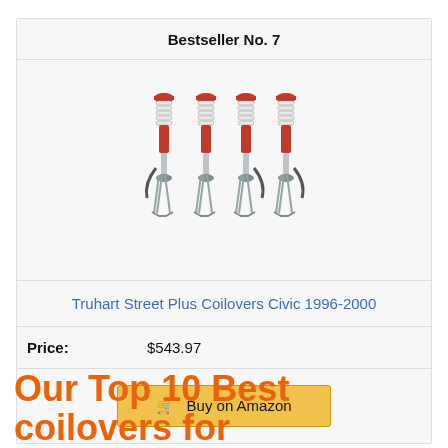Bestseller No. 7
[Figure (photo): Four coilover shock absorbers with red and silver finish for Civic 1996-2000]
Truhart Street Plus Coilovers Civic 1996-2000
Price: $543.97
Buy on Amazon
Our Top 10 Best coilovers for